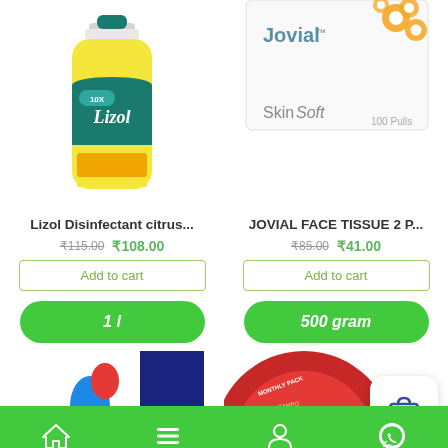[Figure (photo): Lizol Disinfectant citrus yellow bottle product image]
[Figure (photo): Jovial Face Tissue SkinSoft 100 Pulls box with daisy flowers]
Lizol Disinfectant citrus...
₹115.00  ₹108.00
Add to cart
1 l
JOVIAL FACE TISSUE 2 P...
₹85.00  ₹41.00
Add to cart
500 gram
[Figure (photo): Blue cleaning product bottle partially visible]
[Figure (photo): Red circular tampon monthly pack product partially visible]
[Figure (illustration): Shopping bag cart FAB button icon]
Home | Menu | Profile | WhatsApp navigation bar